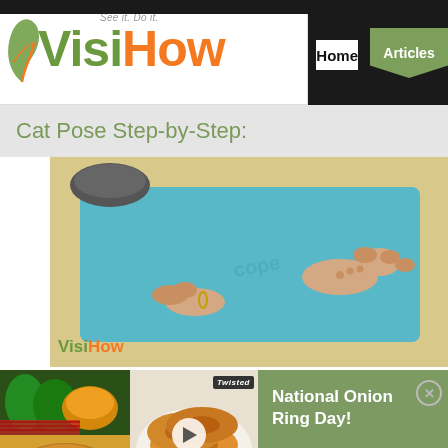[Figure (logo): VisiHow logo with tagline 'See it. Do it.' and green leaf/swirl graphic. 'Visi' in green, 'How' in orange.]
Home
Articles
Cat Pose Step-by-Step:
[Figure (screenshot): Video thumbnail showing a person's hands and knees on a teal yoga mat. VisiHow watermark in bottom left corner.]
[Figure (photo): Food ad banner: left side shows onion ring / pineapple ring foods, right side shows fried onion rings with a Twisted badge and play button overlay. Text reads: National Onion Ring Day!]